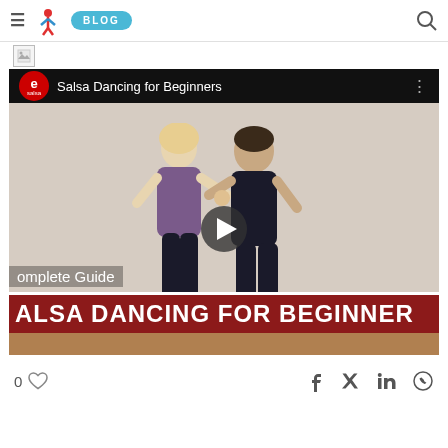≡ [logo] BLOG [search]
[Figure (screenshot): Video thumbnail for 'Salsa Dancing for Beginners' showing two dancers (a woman with blonde hair and a man in dark shirt) in a dance studio, with text overlay reading 'Complete Guide' and 'SALSA DANCING FOR BEGINNERS'. The video has a play button in the center. The top bar shows an eSalsa logo and the video title.]
0 ♡
f  𝕏  in  ◎